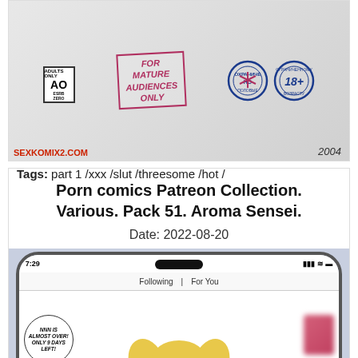[Figure (illustration): Comic book cover preview with age rating symbols: AO rating box, 'FOR MATURE AUDIENCES ONLY' stamp, Russian restriction stamps (18+), text 'SEXKOMIX2.COM' and year '2004']
Tags: part 1 /xxx /slut /threesome /hot /
Porn comics Patreon Collection. Various. Pack 51. Aroma Sensei.
Date: 2022-08-20
[Figure (illustration): Comic illustration showing a phone screen with social media feed, speech bubble text 'NNN IS ALMOST OVER! ONLY 9 DAYS LEFT!', character with blonde pigtails visible at bottom]